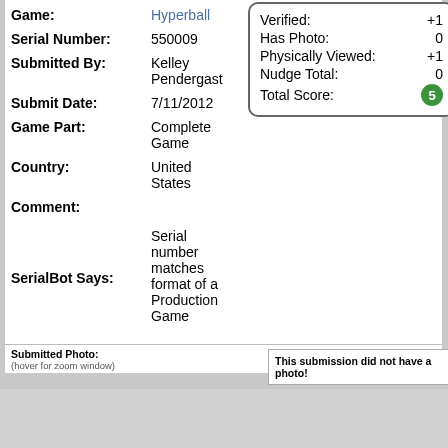Game: Hyperball
Serial Number: 550009
Submitted By: Kelley Pendergast
Submit Date: 7/11/2012
Game Part: Complete Game
Country: United States
Comment:
SerialBot Says: Serial number matches format of a Production Game
|  |  |
| --- | --- |
| Verified: | +1 |
| Has Photo: | 0 |
| Physically Viewed: | +1 |
| Nudge Total: | 0 |
| Total Score: | 5 |
Submitted Photo:
(hover for zoom window)
This submission did not have a photo!